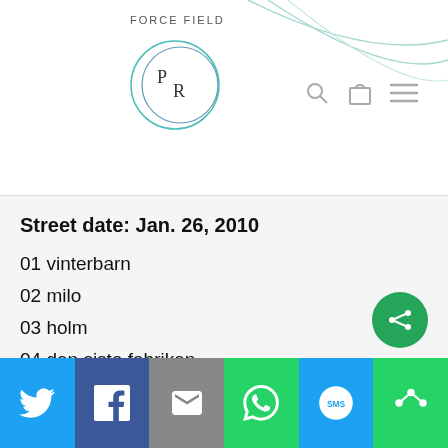FORCE FIELD
[Figure (logo): Circular logo with overlapping circles and letters PR inside]
Street date: Jan. 26, 2010
01 vinterbarn
02 milo
03 holm
04 den sista fabriken
05 vanmyren
06 ava
07 flax
08 under vattenverket
09 nar (partial)
[Figure (screenshot): Social share bar at bottom with Twitter, Facebook, Email, WhatsApp, SMS, More buttons]